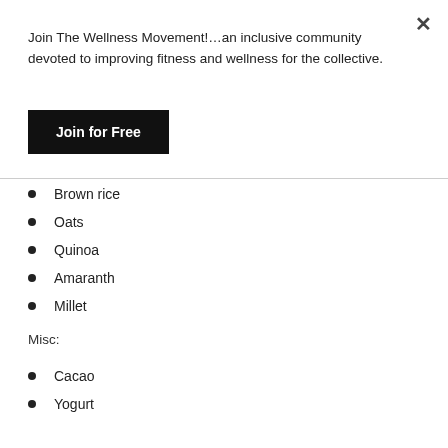Join The Wellness Movement!…an inclusive community devoted to improving fitness and wellness for the collective.
Join for Free
Brown rice
Oats
Quinoa
Amaranth
Millet
Misc:
Cacao
Yogurt